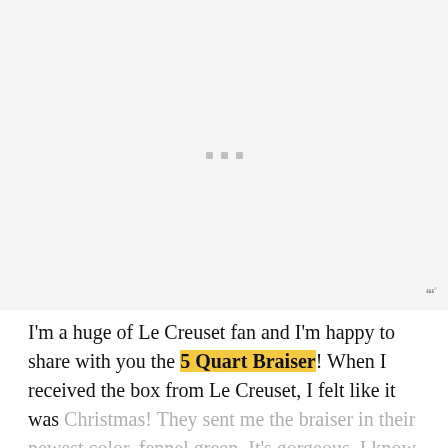[Figure (other): Large blank light gray image placeholder area with three small gray square dots centered in the middle]
I'm a huge of Le Creuset fan and I'm happy to share with you the 5 Quart Braiser! When I received the box from Le Creuset, I felt like it was Christmas! They sent me the braiser in their newest color, fennel green. It's gorgeous. I know